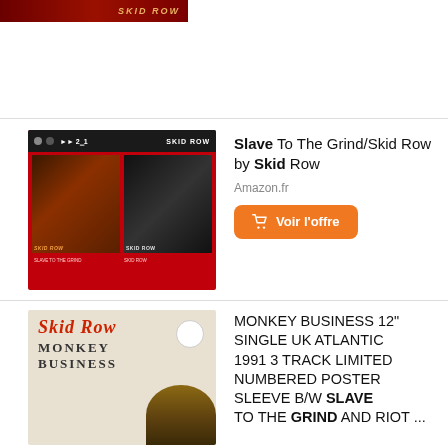[Figure (photo): Partial top cropped image of a Skid Row album cover with dark red/brown tones and stylized SKID ROW text]
[Figure (photo): Album cover for 'Slave To The Grind/Skid Row' 2-in-1 CD with red background, two inner cover images side by side, and SKID ROW text]
Slave To The Grind/Skid Row by Skid Row
Amazon.fr
Voir l'offre
[Figure (photo): Album cover for Skid Row 'Monkey Business' 12" single, beige/sandy background with red hand-written style SKID ROW text and MONKEY BUSINESS below]
MONKEY BUSINESS 12" SINGLE UK ATLANTIC 1991 3 TRACK LIMITED NUMBERED POSTER SLEEVE B/W SLAVE TO THE GRIND AND RIOT ...